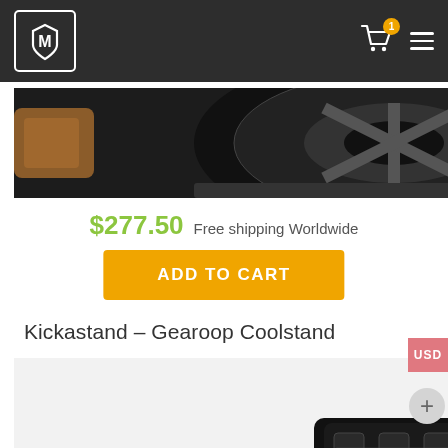MV logo header with cart (1 item) and menu
[Figure (photo): Close-up cropped photo of a black chainring/crankset bicycle component against dark background]
$277.50  Free shipping Worldwide
ADD TO CART
Kickastand – Gearoop Coolstand
[Figure (photo): Photo of a black bicycle kickstand (Gearoop Coolstand) mounted on a bicycle with brown leather saddle visible, on white background]